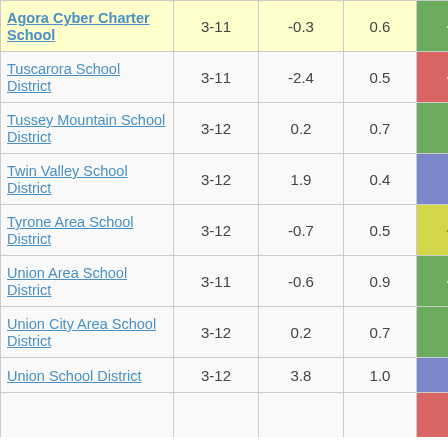| School/District | Grades | Col3 | Col4 | Score |
| --- | --- | --- | --- | --- |
| Agora Cyber Charter School | 3-11 | -0.3 | 0.6 | -0.46 |
| Tuscarora School District | 3-11 | -2.4 | 0.5 | -5.11 |
| Tussey Mountain School District | 3-12 | 0.2 | 0.7 | 0.24 |
| Twin Valley School District | 3-12 | 1.9 | 0.4 | 4.23 |
| Tyrone Area School District | 3-12 | -0.7 | 0.5 | -1.29 |
| Union Area School District | 3-11 | -0.6 | 0.9 | -0.72 |
| Union City Area School District | 3-12 | 0.2 | 0.7 | 0.30 |
| Union School District | 3-12 | 3.8 | 1.0 | 3.85 |